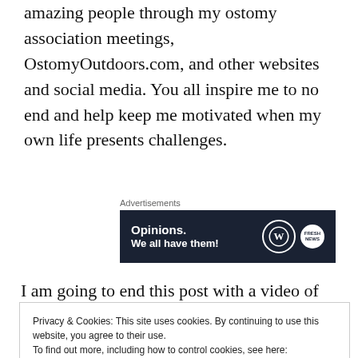amazing people through my ostomy association meetings, OstomyOutdoors.com, and other websites and social media. You all inspire me to no end and help keep me motivated when my own life presents challenges.
[Figure (other): WordPress advertisement banner with dark navy background showing text 'Opinions. We all have them!' alongside WordPress logo and another circular logo]
I am going to end this post with a video of the hike with Lewis mentioned above. I hope it provides some
Privacy & Cookies: This site uses cookies. By continuing to use this website, you agree to their use.
To find out more, including how to control cookies, see here:
Cookie Policy
Close and accept
know that there is a strong ostomy community out